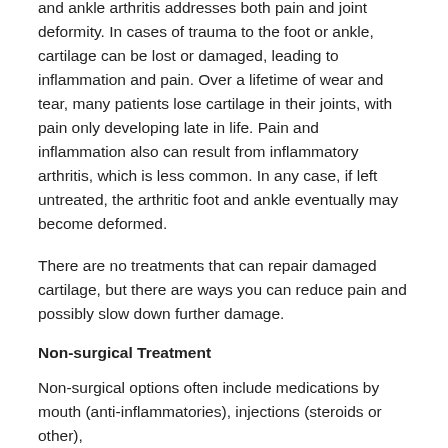and ankle arthritis addresses both pain and joint deformity. In cases of trauma to the foot or ankle, cartilage can be lost or damaged, leading to inflammation and pain. Over a lifetime of wear and tear, many patients lose cartilage in their joints, with pain only developing late in life. Pain and inflammation also can result from inflammatory arthritis, which is less common. In any case, if left untreated, the arthritic foot and ankle eventually may become deformed.
There are no treatments that can repair damaged cartilage, but there are ways you can reduce pain and possibly slow down further damage.
Non-surgical Treatment
Non-surgical options often include medications by mouth (anti-inflammatories), injections (steroids or other),